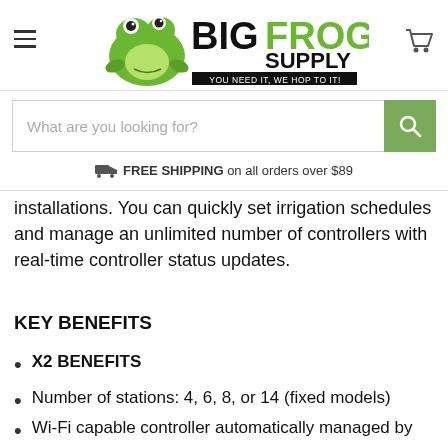[Figure (logo): Big Frog Supply logo with green frog illustration and tagline 'YOU NEED IT, WE HOP TO IT!']
What are you looking for?
FREE SHIPPING on all orders over $89
installations. You can quickly set irrigation schedules and manage an unlimited number of controllers with real-time controller status updates.
KEY BENEFITS
X2 BENEFITS
Number of stations: 4, 6, 8, or 14 (fixed models)
Wi-Fi capable controller automatically managed by Hydrawise® software